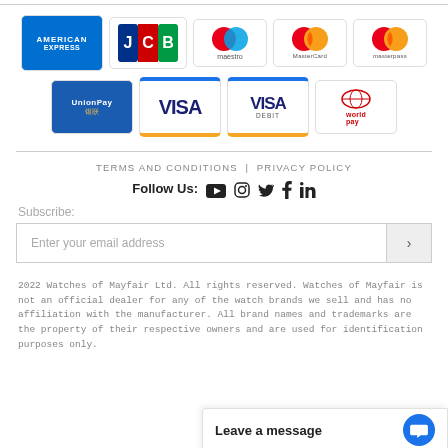[Figure (other): Payment method logos: American Express, JCB, Maestro, MasterCard, Masterpass, UnionPay, Visa, Visa Debit, World Pay]
TERMS AND CONDITIONS | PRIVACY POLICY
Follow Us: [YouTube] [Instagram] [Twitter] [Facebook] [LinkedIn]
Subscribe:
Enter your email address
2022 Watches of Mayfair Ltd. All rights reserved. Watches of Mayfair is not an official dealer for any of the watch brands we sell and has no affiliation with the manufacturer. All brand names and trademarks are the property of their respective owners and are used for identification purposes only.
Leave a message